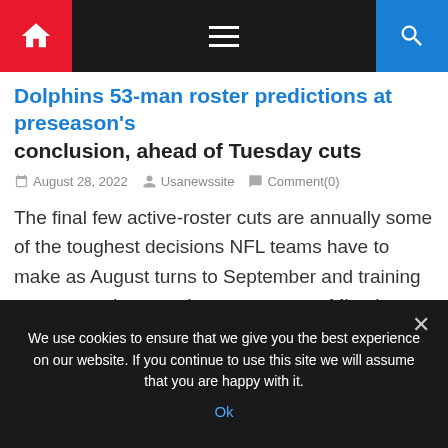Navigation bar with home, hamburger menu, and search icons
Dolphins 53-man roster predictions at preseason's conclusion, ahead of Tuesday cuts
August 28, 2022   Usanewssite   Comment(0)
The final few active-roster cuts are annually some of the toughest decisions NFL teams have to make as August turns to September and training camp turns into regular season prep. Miami Dolphins general manager Chris Grier and coach Mike McDaniel have several questions to answer by the Tuesday 4 p.m. deadline to cut their roster [...]
We use cookies to ensure that we give you the best experience on our website. If you continue to use this site we will assume that you are happy with it.
Ok